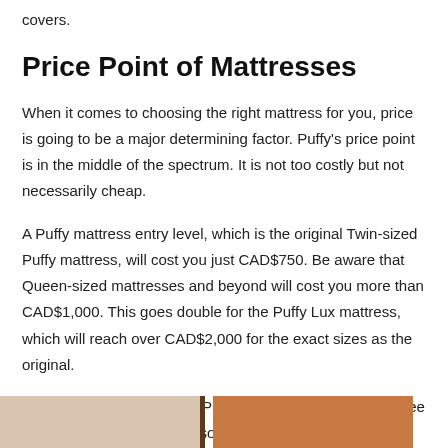covers.
Price Point of Mattresses
When it comes to choosing the right mattress for you, price is going to be a major determining factor. Puffy's price point is in the middle of the spectrum. It is not too costly but not necessarily cheap.
A Puffy mattress entry level, which is the original Twin-sized Puffy mattress, will cost you just CAD$750. Be aware that Queen-sized mattresses and beyond will cost you more than CAD$1,000. This goes double for the Puffy Lux mattress, which will reach over CAD$2,000 for the exact sizes as the original.
With all the ins and outs of Puffy accounted for, let's now see how it matches up against some other popular brands online.
[Figure (photo): Bottom strip showing two mattress images side by side, one beige/tan and one orange/rust colored with a dark divider]